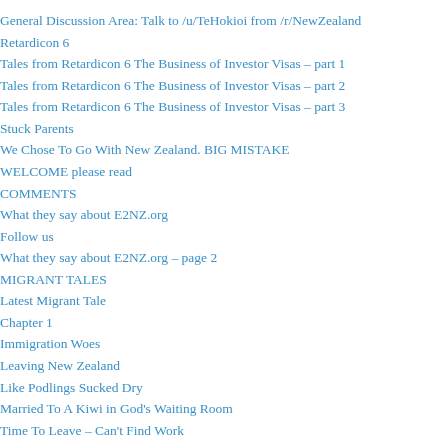General Discussion Area: Talk to /u/TeHokioi from /r/NewZealand
Retardicon 6
Tales from Retardicon 6 The Business of Investor Visas – part 1
Tales from Retardicon 6 The Business of Investor Visas – part 2
Tales from Retardicon 6 The Business of Investor Visas – part 3
Stuck Parents
We Chose To Go With New Zealand. BIG MISTAKE
WELCOME please read
COMMENTS
What they say about E2NZ.org
Follow us
What they say about E2NZ.org – page 2
MIGRANT TALES
Latest Migrant Tale
Chapter 1
Immigration Woes
Leaving New Zealand
Like Podlings Sucked Dry
Married To A Kiwi in God's Waiting Room
Time To Leave – Can't Find Work